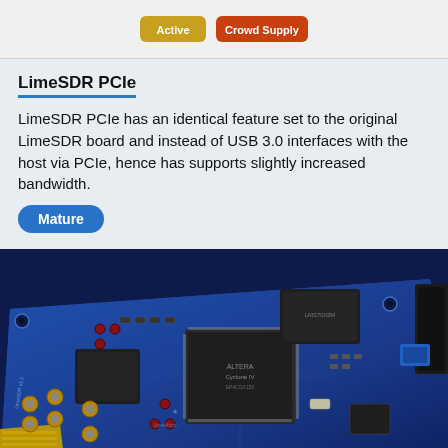[Figure (other): Top strip with two product badge buttons (partially visible from previous section)]
LimeSDR PCIe
LimeSDR PCIe has an identical feature set to the original LimeSDR board and instead of USB 3.0 interfaces with the host via PCIe, hence has supports slightly increased bandwidth.
Mature
[Figure (photo): Photo of LimeSDR PCIe circuit board — a blue PCB with LimeMicro LimeSDR v1.2 label, featuring an Intel/Altera Cyclone FPGA, various chips, SMA connectors, and a PCIe gold-finger edge connector.]